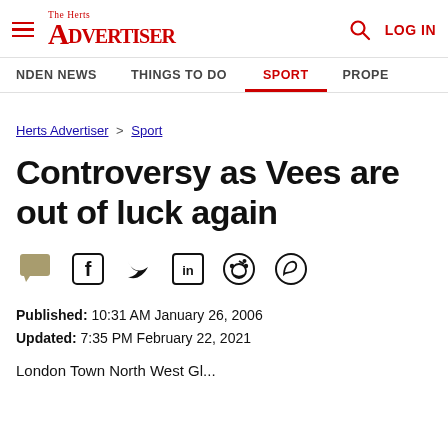The Herts Advertiser — LOG IN
NDEN NEWS   THINGS TO DO   SPORT   PROPE
Herts Advertiser > Sport
Controversy as Vees are out of luck again
Published: 10:31 AM January 26, 2006
Updated: 7:35 PM February 22, 2021
London Town North West Gl...